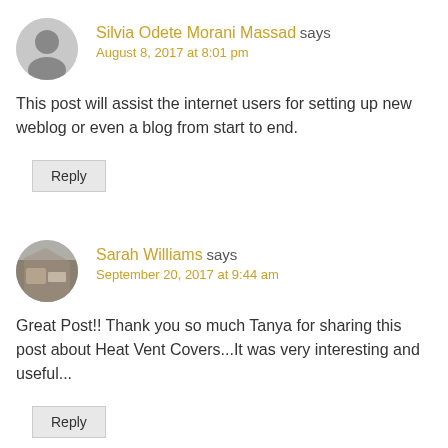Silvia Odete Morani Massad says August 8, 2017 at 8:01 pm
This post will assist the internet users for setting up new weblog or even a blog from start to end.
Reply
Sarah Williams says September 20, 2017 at 9:44 am
Great Post!! Thank you so much Tanya for sharing this post about Heat Vent Covers...It was very interesting and useful...
Reply